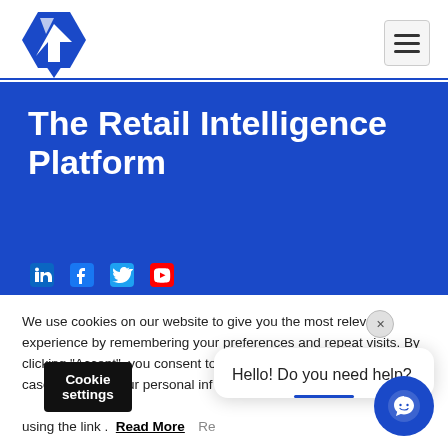[Figure (logo): Blue geometric arrow/hexagon logo]
[Figure (illustration): Hamburger menu icon (three horizontal lines) in a bordered box]
The Retail Intelligence Platform
[Figure (illustration): Social media icons row: LinkedIn, Facebook, Twitter/X, YouTube on blue background]
We use cookies on our website to give you the most relevant experience by remembering your preferences and repeat visits. By clicking "Accept", you consent to the use of ALL the cookies. In case of sale of your personal inf using the link . Read More RE
[Figure (illustration): Cookie settings black button and chat widget saying 'Hello! Do you need help?' with close button and chat icon]